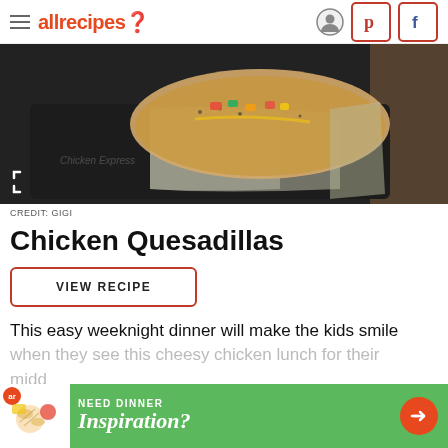allrecipes
[Figure (photo): Photo of chicken quesadillas on a baking tray with foil, with colorful pepper filling visible, shot on dark background]
CREDIT: GIGI
Chicken Quesadillas
VIEW RECIPE
This easy weeknight dinner will make the kids smile when they see this cheesy chicken lunch for their midda... in
[Figure (infographic): Advertisement banner: green background with pasta/food image, text 'NEED DINNER Inspiration?' with orange arrow button]